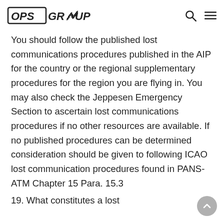OPS GROUP
You should follow the published lost communications procedures published in the AIP for the country or the regional supplementary procedures for the region you are flying in. You may also check the Jeppesen Emergency Section to ascertain lost communications procedures if no other resources are available. If no published procedures can be determined consideration should be given to following ICAO lost communication procedures found in PANS-ATM Chapter 15 Para. 15.3
19. What constitutes a lost